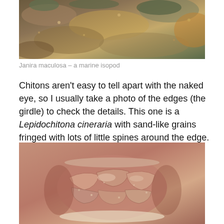[Figure (photo): Close-up photograph of a marine organism (Janira maculosa - a marine isopod) on a rocky surface with mottled brown, orange, and green textures]
Janira maculosa – a marine isopod
Chitons aren't easy to tell apart with the naked eye, so I usually take a photo of the edges (the girdle) to check the details. This one is a Lepidochitona cineraria with sand-like grains fringed with lots of little spines around the edge. The shell also has a grainy texture.
[Figure (photo): Close-up macro photograph of a chiton (Lepidochitona cineraria) showing the segmented shell plates with sandy, grainy texture and spiny girdle edges, pinkish-brown coloration]